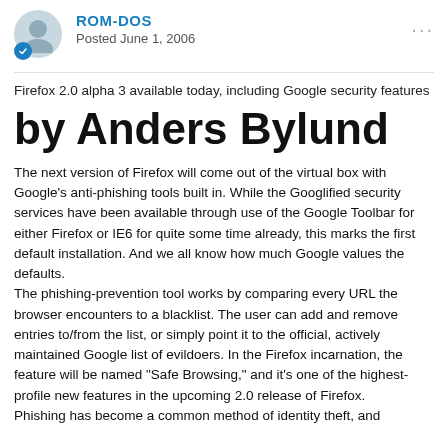ROM-DOS
Posted June 1, 2006
Firefox 2.0 alpha 3 available today, including Google security features
by Anders Bylund
The next version of Firefox will come out of the virtual box with Google's anti-phishing tools built in. While the Googlified security services have been available through use of the Google Toolbar for either Firefox or IE6 for quite some time already, this marks the first default installation. And we all know how much Google values the defaults.
The phishing-prevention tool works by comparing every URL the browser encounters to a blacklist. The user can add and remove entries to/from the list, or simply point it to the official, actively maintained Google list of evildoers. In the Firefox incarnation, the feature will be named "Safe Browsing," and it's one of the highest-profile new features in the upcoming 2.0 release of Firefox.
Phishing has become a common method of identity theft, and